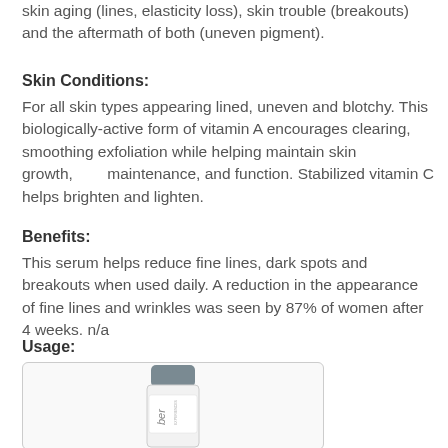skin aging (lines, elasticity loss), skin trouble (breakouts) and the aftermath of both (uneven pigment).
Skin Conditions:
For all skin types appearing lined, uneven and blotchy. This biologically-active form of vitamin A encourages clearing, smoothing exfoliation while helping maintain skin growth, maintenance, and function. Stabilized vitamin C helps brighten and lighten.
Benefits:
This serum helps reduce fine lines, dark spots and breakouts when used daily. A reduction in the appearance of fine lines and wrinkles was seen by 87% of women after 4 weeks. n/a
Usage:
[Figure (photo): Product bottle photo — a cylindrical skincare serum bottle with a grey cap and white label showing partial text 'ber' and 'EXPERIENCES']